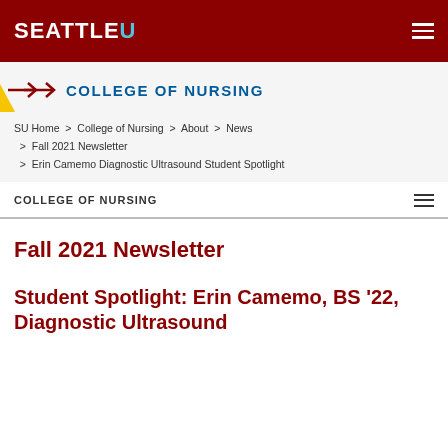SEATTLE U
COLLEGE OF NURSING
SU Home > College of Nursing > About > News > Fall 2021 Newsletter > Erin Camemo Diagnostic Ultrasound Student Spotlight
COLLEGE OF NURSING
Fall 2021 Newsletter
Student Spotlight: Erin Camemo, BS '22, Diagnostic Ultrasound